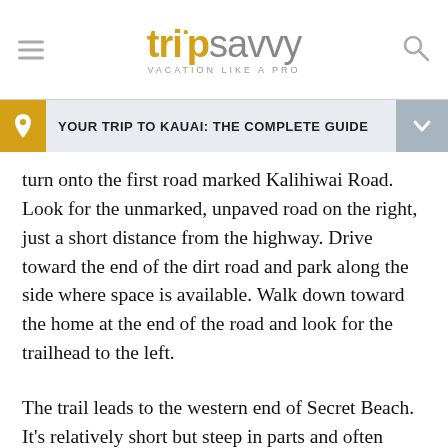tripsavvy — VACATION LIKE A PRO
YOUR TRIP TO KAUAI: THE COMPLETE GUIDE
turn onto the first road marked Kalihiwai Road. Look for the unmarked, unpaved road on the right, just a short distance from the highway. Drive toward the end of the dirt road and park along the side where space is available. Walk down toward the home at the end of the road and look for the trailhead to the left.
The trail leads to the western end of Secret Beach. It's relatively short but steep in parts and often slippery, and